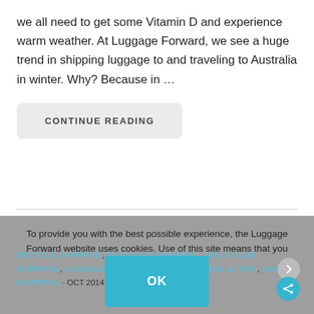we all need to get some Vitamin D and experience warm weather. At Luggage Forward, we see a huge trend in shipping luggage to and traveling to Australia in winter. Why? Because in …
CONTINUE READING
To provide you with the best possible experience, the Luggage Forward website uses cookies. Use of this site means that you accept our
OK
BICYCLE SHIPPING, BAGGAGE SHIPPING, GOLF CLUB SHIPPING, LUGGAGE SHIPPING DESTINATIONS & TIPS, SKI SHIPPING · OCT 2014